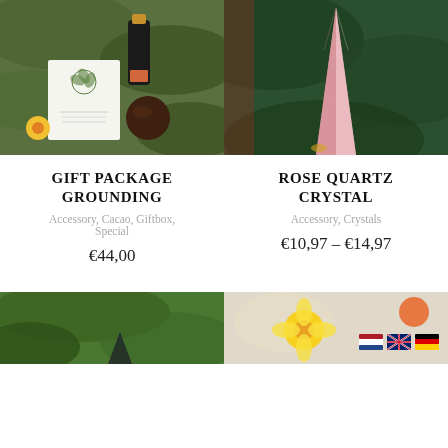[Figure (photo): Gift package grounding product photo with card, bottle with gold cap, chocolate ball, and yellow flowers on green leaf background]
[Figure (photo): Rose quartz crystal tower/point on a dark green tropical leaf background]
GIFT PACKAGE GROUNDING
Accessory, Cacao, Giftbox, Special
€44,00
ROSE QUARTZ CRYSTAL
Accessory, Crystals
€10,97 – €14,97
[Figure (photo): Green leaves with a dark crystal/stone visible at the bottom]
[Figure (photo): Product with yellow flower, orange flower, with Dutch, UK and German flag icons visible]